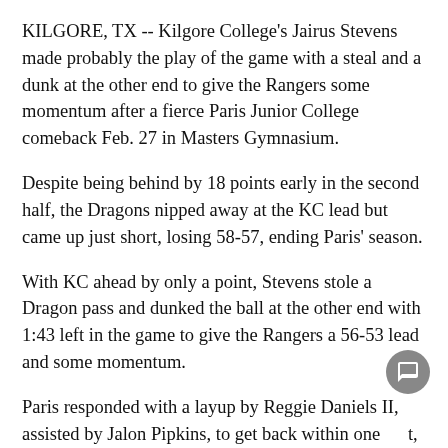KILGORE, TX -- Kilgore College's Jairus Stevens made probably the play of the game with a steal and a dunk at the other end to give the Rangers some momentum after a fierce Paris Junior College comeback Feb. 27 in Masters Gymnasium.
Despite being behind by 18 points early in the second half, the Dragons nipped away at the KC lead but came up just short, losing 58-57, ending Paris' season.
With KC ahead by only a point, Stevens stole a Dragon pass and dunked the ball at the other end with 1:43 left in the game to give the Rangers a 56-53 lead and some momentum.
Paris responded with a layup by Reggie Daniels II, assisted by Jalon Pipkins, to get back within one point, 56-55, with 1:20 left in the contest.